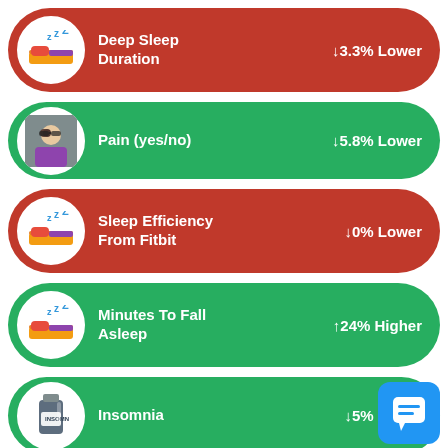Deep Sleep Duration ↓3.3% Lower
Pain (yes/no) ↓5.8% Lower
Sleep Efficiency From Fitbit ↓0% Lower
Minutes To Fall Asleep ↑24% Higher
Insomnia ↓5% Lower
Productivity Pulse ↑1.5% Higher
Heart Rate (Pulse) ↓0.3% Lower